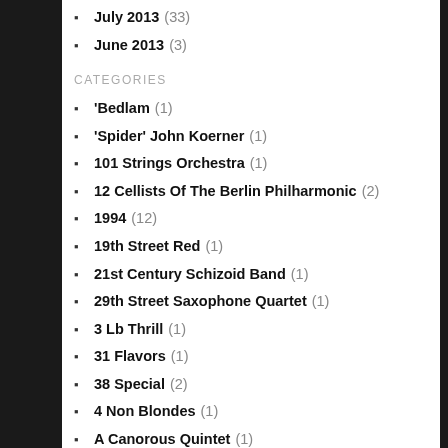July 2013 (33)
June 2013 (3)
CATEGORIES
'Bedlam (1)
'Spider' John Koerner (1)
101 Strings Orchestra (1)
12 Cellists Of The Berlin Philharmonic (2)
1994 (12)
19th Street Red (1)
21st Century Schizoid Band (1)
29th Street Saxophone Quartet (1)
3 Lb Thrill (1)
31 Flavors (1)
38 Special (2)
4 Non Blondes (1)
A Canorous Quintet (1)
A Triggering Myth (1)
A-440 (1)
Abba (3)
Abba Charlie (5)